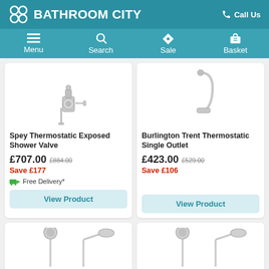BATHROOM CITY | Call Us
Menu | Search | Sale | Basket
[Figure (photo): Spey Thermostatic Exposed Shower Valve product image]
Spey Thermostatic Exposed Shower Valve
£707.00  £884.00  Save £177  Free Delivery*  View Product
[Figure (photo): Burlington Trent Thermostatic Single Outlet product image]
Burlington Trent Thermostatic Single Outlet
£423.00  £529.00  Save £106  View Product
[Figure (photo): Bottom-left product shower image (partial)]
[Figure (photo): Bottom-right product shower image (partial)]